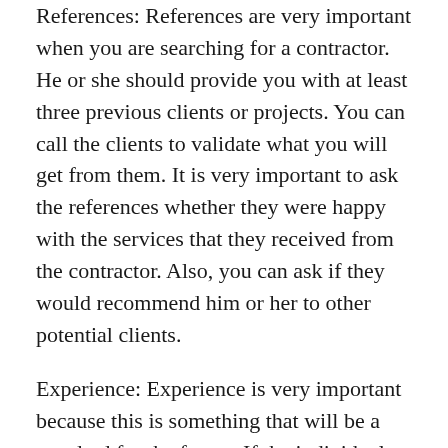References: References are very important when you are searching for a contractor. He or she should provide you with at least three previous clients or projects. You can call the clients to validate what you will get from them. It is very important to ask the references whether they were happy with the services that they received from the contractor. Also, you can ask if they would recommend him or her to other potential clients.
Experience: Experience is very important because this is something that will be a standard for the future. If the individual has been in the business for a long time, then you can be sure that he or she knows his or her stuff. Also, you can see how many projects he or she has handled successfully. You